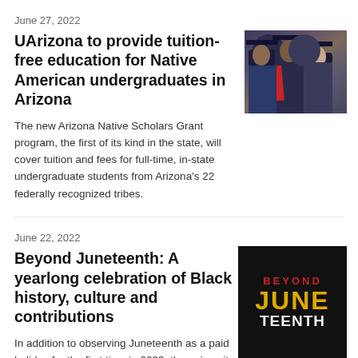June 27, 2022
UArizona to provide tuition-free education for Native American undergraduates in Arizona
[Figure (photo): Graduation photo showing students in caps and gowns at a commencement ceremony]
The new Arizona Native Scholars Grant program, the first of its kind in the state, will cover tuition and fees for full-time, in-state undergraduate students from Arizona's 22 federally recognized tribes.
June 22, 2022
Beyond Juneteenth: A yearlong celebration of Black history, culture and contributions
[Figure (illustration): Poster/graphic with stylized text reading BEYOND JUNETEENTH in bold letters with red, yellow and white colors on a dark background]
In addition to observing Juneteenth as a paid holiday for the first time in 2023, the university